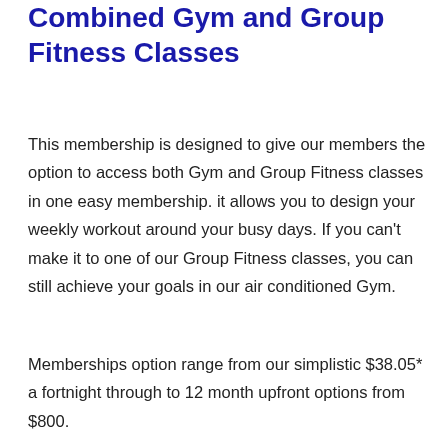Combined Gym and Group Fitness Classes
This membership is designed to give our members the option to access both Gym and Group Fitness classes in one easy membership. it allows you to design your weekly workout around your busy days. If you can’t make it to one of our Group Fitness classes, you can still achieve your goals in our air conditioned Gym.
Memberships option range from our simplistic $38.05* a fortnight through to 12 month upfront options from $800.